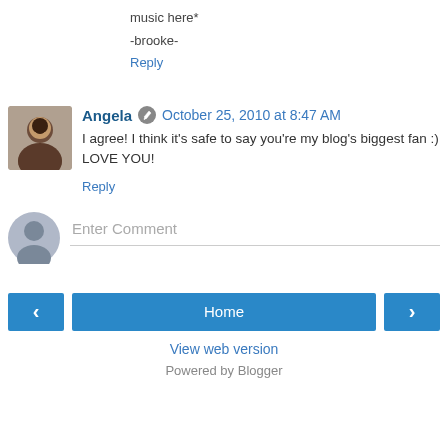music here*
-brooke-
Reply
Angela  October 25, 2010 at 8:47 AM
I agree! I think it's safe to say you're my blog's biggest fan :) LOVE YOU!
Reply
Enter Comment
Home
View web version
Powered by Blogger